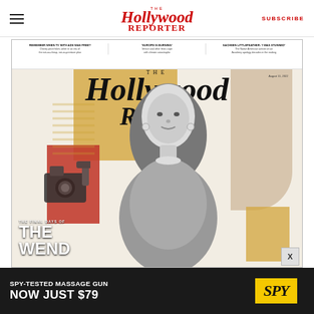The Hollywood Reporter — SUBSCRIBE
[Figure (photo): Screenshot of The Hollywood Reporter website showing a magazine cover. The cover features a woman (Wendy Williams) in black and white against a colorful collage background with gold, red, and tan shapes. The Hollywood Reporter logo is displayed prominently. Cover text reads 'THE FINAL DAYS OF THE WENDY...' Three teasers at top: 'REMEMBER WHEN TV WITH ADS WAS FREE? Disney price hikes usher in an era of the not-so-cheap, not-so-premium plan', 'EUROPE IS BURNING: Venice and other fests cope with climate catastrophe', 'SACHEEN LITTLEFEATHER: I WAS STUNNED: The Native American activist on an Academy apology decades in the making'. Date: August 11, 2022.]
SPY-TESTED MASSAGE GUN NOW JUST $79 — SPY advertisement banner